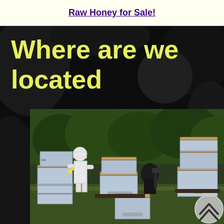Raw Honey for Sale!
Where are we located
[Figure (photo): Beekeeper in white protective suit working with multiple white beehive boxes arranged on grass, with green trees in background. A scroll-up button (circle with chevron) is visible in the bottom right corner.]